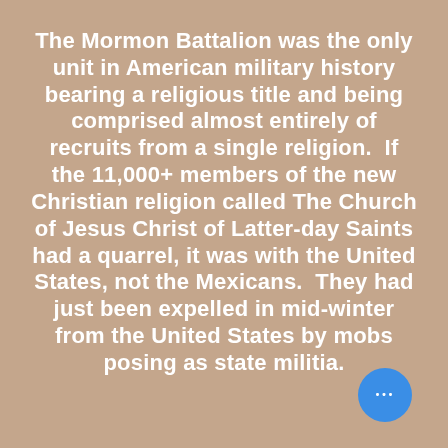The Mormon Battalion was the only unit in American military history bearing a religious title and being comprised almost entirely of recruits from a single religion.  If the 11,000+ members of the new Christian religion called The Church of Jesus Christ of Latter-day Saints had a quarrel, it was with the United States, not the Mexicans.  They had just been expelled in mid-winter from the United States by mobs posing as state militia.